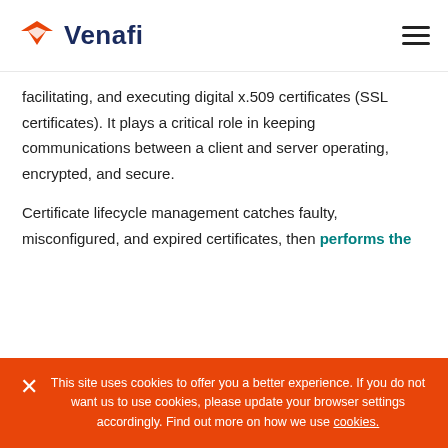Venafi
facilitating, and executing digital x.509 certificates (SSL certificates). It plays a critical role in keeping communications between a client and server operating, encrypted, and secure.
Certificate lifecycle management catches faulty, misconfigured, and expired certificates, then performs the following processes:
Creating
Purchasing
This site uses cookies to offer you a better experience. If you do not want us to use cookies, please update your browser settings accordingly. Find out more on how we use cookies.